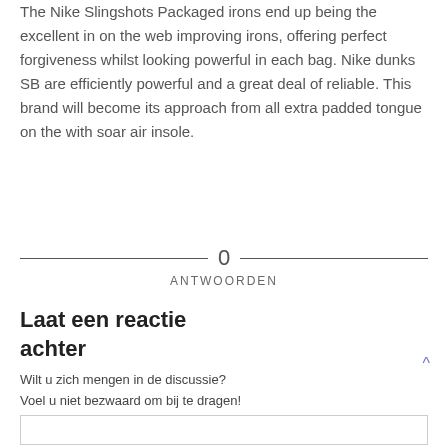The Nike Slingshots Packaged irons end up being the excellent in on the web improving irons, offering perfect forgiveness whilst looking powerful in each bag. Nike dunks SB are efficiently powerful and a great deal of reliable. This brand will become its approach from all extra padded tongue on the with soar air insole.
0
ANTWOORDEN
Laat een reactie achter
Wilt u zich mengen in de discussie?
Voel u niet bezwaard om bij te dragen!